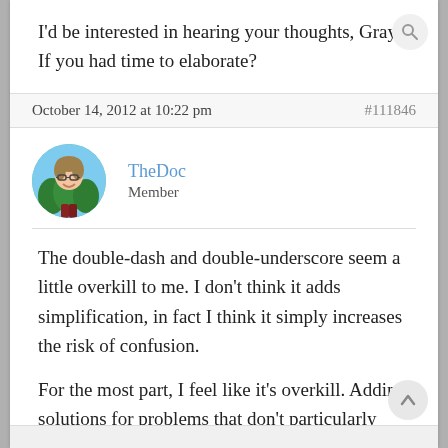I'd be interested in hearing your thoughts, Gray. If you had time to elaborate?
October 14, 2012 at 10:22 pm  #111846
TheDoc
Member
The double-dash and double-underscore seem a little overkill to me. I don't think it adds simplification, in fact I think it simply increases the risk of confusion.
For the most part, I feel like it's overkill. Adding solutions for problems that don't particularly exist for the majority of dev teams.